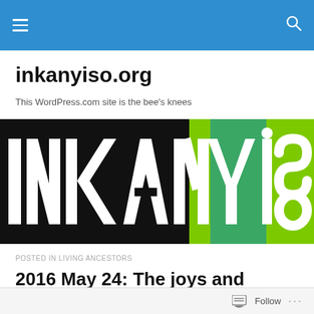inkanyiso.org navigation bar
inkanyiso.org
This WordPress.com site is the bee's knees
[Figure (illustration): INKANYISO logo banner — bold white and black block lettering on green and black background]
POSTED IN LIVING ANCESTORS
2016 May 24: The joys and troubles of being a father
Follow ...